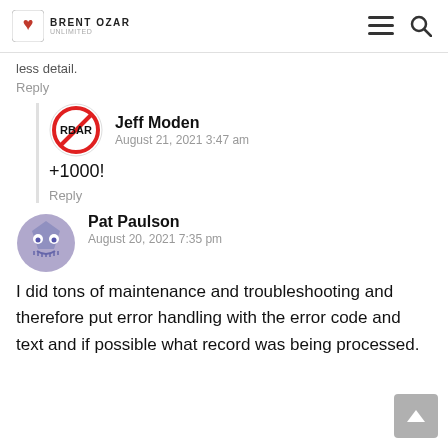BRENT OZAR
less detail.
Reply
Jeff Moden
August 21, 2021 3:47 am
+1000!
Reply
Pat Paulson
August 20, 2021 7:35 pm
I did tons of maintenance and troubleshooting and therefore put error handling with the error code and text and if possible what record was being processed.